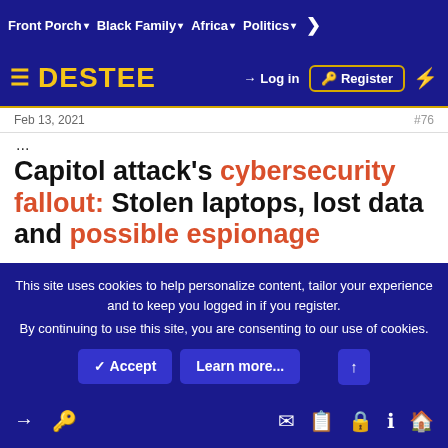Front Porch ▾  Black Family ▾  Africa ▾  Politics ▾  >
[Figure (logo): Destee website logo bar with hamburger menu, DESTEE logo in yellow, Log in and Register buttons, lightning icon]
Feb 13, 2021    #76
...
Capitol attack's cybersecurity fallout: Stolen laptops, lost data and possible espionage
The January 6 attack on Election Day certification proceedings in the Capitol left a deep cybersecurity concern...
This site uses cookies to help personalize content, tailor your experience and to keep you logged in if you register.
By continuing to use this site, you are consenting to our use of cookies.
Accept   Learn more...   ↑   [bottom nav icons]